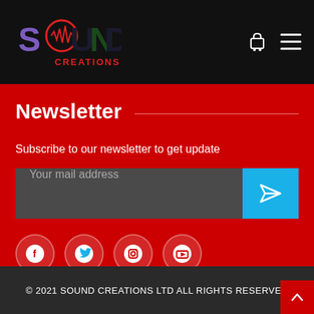[Figure (logo): Sound Creations logo with audio waveform in red circle, purple S, dark green N and D letters, microphone icon, text SOUND CREATIONS in red below]
[Figure (infographic): Shopping cart icon and hamburger menu icon in white on dark header]
Newsletter
Subscribe to our  newsletter to get update
[Figure (infographic): Email input field with placeholder 'Your mail address' and blue send button with paper plane icon]
[Figure (infographic): Social media icons row: Facebook, Twitter, Instagram, YouTube — white circles with colored icons on red background]
© 2021 SOUND CREATIONS LTD ALL RIGHTS RESERVED